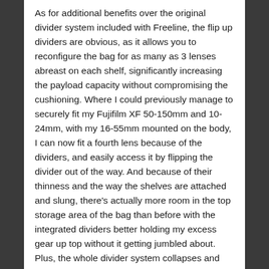As for additional benefits over the original divider system included with Freeline, the flip up dividers are obvious, as it allows you to reconfigure the bag for as many as 3 lenses abreast on each shelf, significantly increasing the payload capacity without compromising the cushioning. Where I could previously manage to securely fit my Fujifilm XF 50-150mm and 10-24mm, with my 16-55mm mounted on the body, I can now fit a fourth lens because of the dividers, and easily access it by flipping the divider out of the way. And because of their thinness and the way the shelves are attached and slung, there's actually more room in the top storage area of the bag than before with the integrated dividers better holding my excess gear up top without it getting jumbled about. Plus, the whole divider system collapses and comes right out should you need a general purpose backpack, just as originally